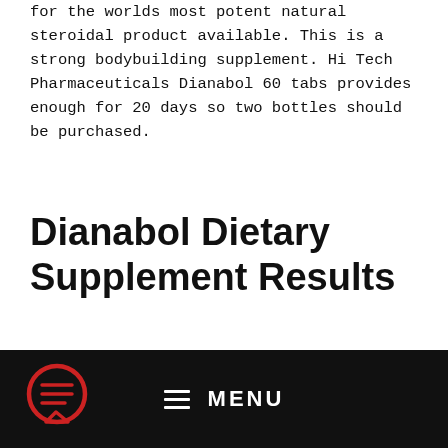for the worlds most potent natural steroidal product available. This is a strong bodybuilding supplement. Hi Tech Pharmaceuticals Dianabol 60 tabs provides enough for 20 days so two bottles should be purchased.
Dianabol Dietary Supplement Results
Muscle Growth
MENU